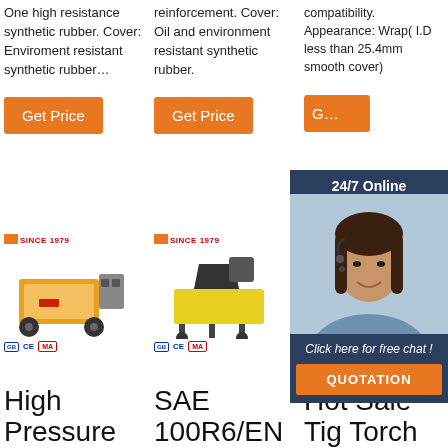One high resistance synthetic rubber. Cover: Enviroment resistant synthetic rubber…
reinforcement. Cover: Oil and environment resistant synthetic rubber.
compatibility. Appearance: Wrap( I.D less than 25.4mm smooth cover)
[Figure (screenshot): Orange Get Price button, column 1]
[Figure (screenshot): Orange Get Price button, column 2]
[Figure (screenshot): Partial orange Get Price button, column 3]
[Figure (photo): High pressure machine product image with MLS logo and CE MA certifications]
[Figure (photo): SAE 100R6/EN machine product image with MLS logo and CE MA certifications]
[Figure (photo): Hot Sale Tig Torch product image with MLS logo and CE MA certifications (partially obscured by chat widget)]
[Figure (screenshot): 24/7 Online chat widget with agent photo, 'Click here for free chat!' text and QUOTATION button]
High Pressure
SAE 100R6/EN
Hot Sale Tig Torch